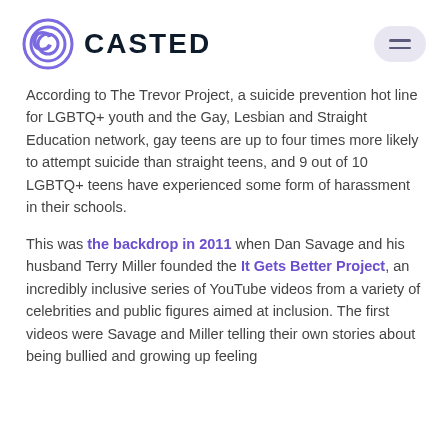[Figure (logo): Casted logo: purple C icon and bold dark text CASTED, with hamburger menu button on the right]
According to The Trevor Project, a suicide prevention hot line for LGBTQ+ youth and the Gay, Lesbian and Straight Education network, gay teens are up to four times more likely to attempt suicide than straight teens, and 9 out of 10 LGBTQ+ teens have experienced some form of harassment in their schools.
This was the backdrop in 2011 when Dan Savage and his husband Terry Miller founded the It Gets Better Project, an incredibly inclusive series of YouTube videos from a variety of celebrities and public figures aimed at inclusion. The first videos were Savage and Miller telling their own stories about being bullied and growing up feeling